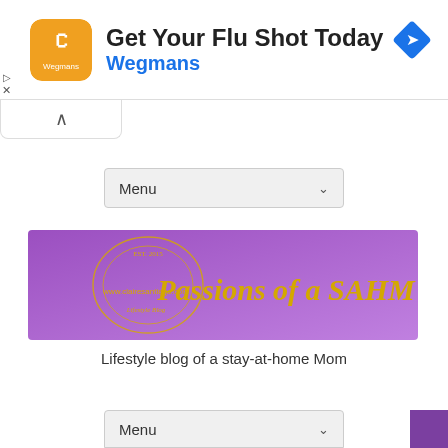[Figure (screenshot): Advertisement banner: Wegmans flu shot ad with orange logo, title 'Get Your Flu Shot Today', subtitle 'Wegmans', and a blue navigation icon on the right]
[Figure (screenshot): Collapsed browser address bar area with an upward chevron arrow]
[Figure (screenshot): Gray dropdown menu button labeled 'Menu' with a downward chevron]
[Figure (illustration): Purple blog banner with gold text reading 'Passions of a SAHM', circular logo design on left, and website URL www.clairesantiago.com]
Lifestyle blog of a stay-at-home Mom
[Figure (screenshot): Gray dropdown menu button labeled 'Menu' with a downward chevron at the bottom of the page, with a purple square on the right]